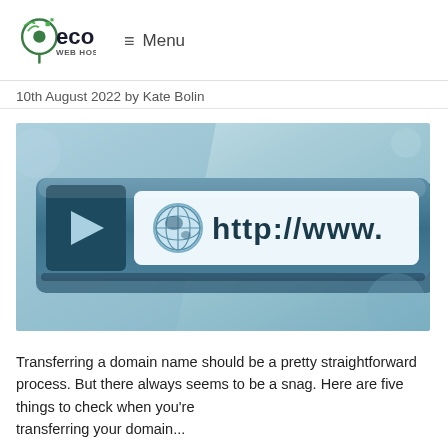eco WEB HOSTING — Menu
10th August 2022 by Kate Bolin
[Figure (photo): Close-up photo of a browser navigation bar showing a globe icon and 'http://www.' text, tinted in blue-grey tones]
Transferring a domain name should be a pretty straightforward process. But there always seems to be a snag. Here are five things to check when you're transferring your domain...